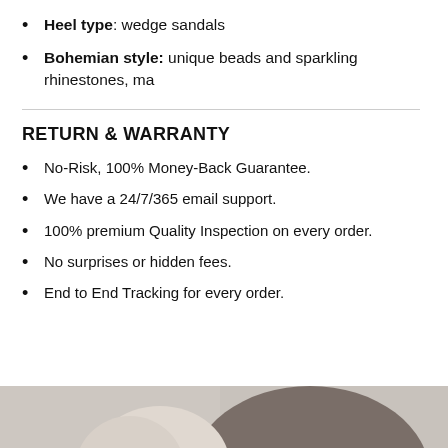Heel type: wedge sandals
Bohemian style: unique beads and sparkling rhinestones, ma
RETURN & WARRANTY
No-Risk, 100% Money-Back Guarantee.
We have a 24/7/365 email support.
100% premium Quality Inspection on every order.
No surprises or hidden fees.
End to End Tracking for every order.
[Figure (photo): Bottom strip showing a partial photo of a person, cropped at bottom of page.]